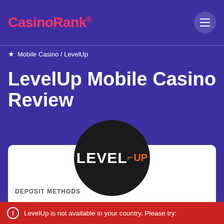CasinoRank®
★ Mobile Casino / LevelUp
LevelUp Mobile Casino Review
[Figure (logo): LevelUp Casino circular logo with black background, showing LEVEL in white and UP in orange, with an 18+ badge on the right]
DEPOSIT METHODS
ⓘ LevelUp is not available in your country. Please try: